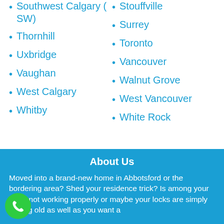Southwest Calgary (SW)
Stouffville
Surrey
Thornhill
Toronto
Uxbridge
Vancouver
Vaughan
Walnut Grove
West Calgary
West Vancouver
Whitby
White Rock
About Us
Moved into a brand-new home in Abbotsford or the bordering area? Shed your residence trick? Is among your locks not working properly or maybe your locks are simply getting old as well as you want a